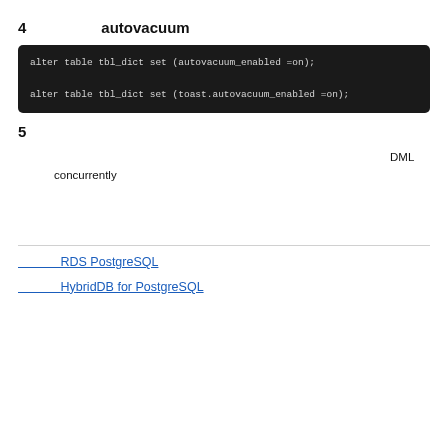4　　　　　　　autovacuum
alter table tbl_dict set (autovacuum_enabled =on);

alter table tbl_dict set (toast.autovacuum_enabled =on);
5
DML　　concurrently
RDS PostgreSQL
HybridDB for PostgreSQL